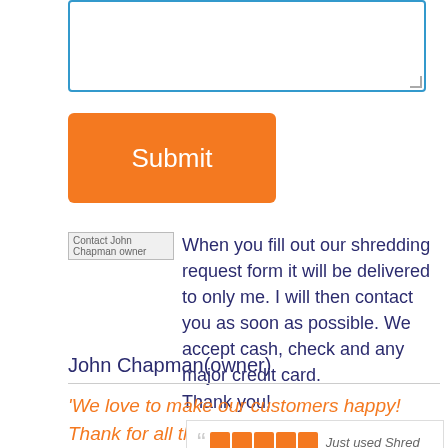[Figure (screenshot): Text area input box with blue border]
[Figure (screenshot): Orange Submit button]
[Figure (screenshot): Contact John Chapman owner image placeholder with broken image icon]
When you fill out our shredding request form it will be delivered to only me. I will then contact you as soon as possible. We accept cash, check and any major credit card. Thank you!
John Chapman(owner)
'We love to make our customers happy!  Thank for all the kind words on Yelp!
[Figure (screenshot): Review box with quotation mark, 5 orange star rating squares, and text 'Just used Shred']